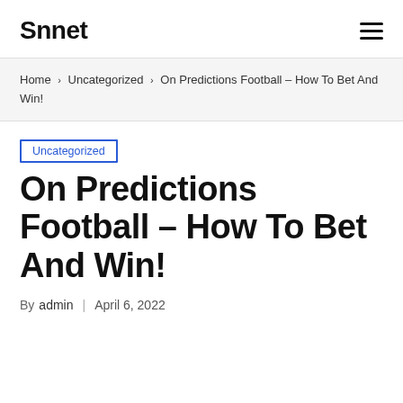Snnet
Home › Uncategorized › On Predictions Football – How To Bet And Win!
Uncategorized
On Predictions Football – How To Bet And Win!
By admin | April 6, 2022